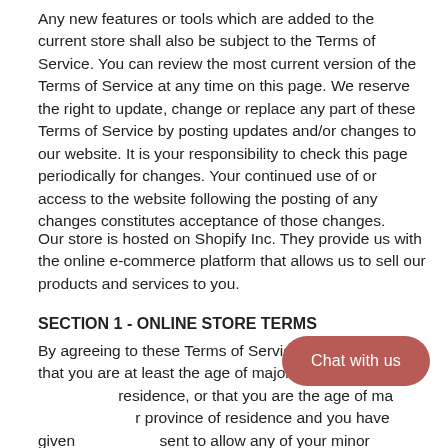Any new features or tools which are added to the current store shall also be subject to the Terms of Service. You can review the most current version of the Terms of Service at any time on this page. We reserve the right to update, change or replace any part of these Terms of Service by posting updates and/or changes to our website. It is your responsibility to check this page periodically for changes. Your continued use of or access to the website following the posting of any changes constitutes acceptance of those changes.
Our store is hosted on Shopify Inc. They provide us with the online e-commerce platform that allows us to sell our products and services to you.
SECTION 1 - ONLINE STORE TERMS
By agreeing to these Terms of Service, you represent that you are at least the age of majority in your state or province of residence, or that you are the age of majority in your state or province of residence and you have given us your consent to allow any of your minor dependents to use this site.